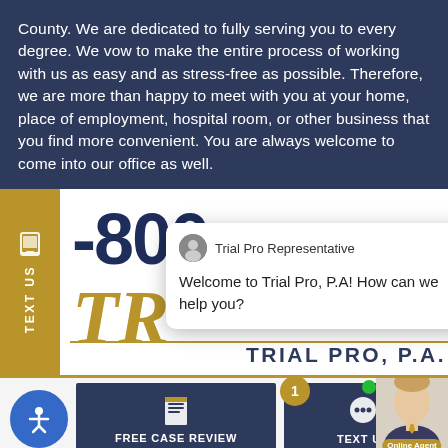County. We are dedicated to fully serving you to every degree. We vow to make the entire process of working with us as easy and as stress-free as possible. Therefore, we are more than happy to meet with you at your home, place of employment, hospital room, or other business that you find more convenient. You are always welcome to come into our office as well.
[Figure (screenshot): Website screenshot showing a gold 'TEXT US' vertical bar on the left, a large phone number '-800' partially visible, gold 'TR' logo letters, a chat popup from 'Trial Pro Representative' saying 'Welcome to Trial Pro, P.A! How can we help you?', and 'TRIAL PRO, P.A.' branding text. Below are buttons for 'FREE CASE REVIEW' and 'TEXT US', an accessibility icon, an agent photo with 'Online Agent' label, a notification badge showing '1', and a green online indicator dot.]